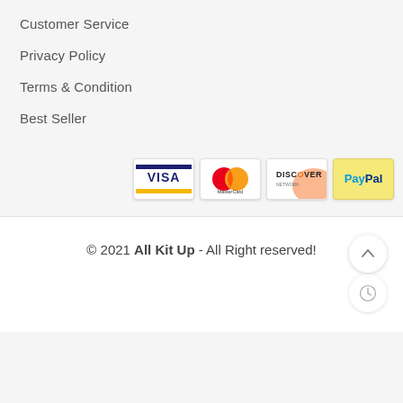Customer Service
Privacy Policy
Terms & Condition
Best Seller
[Figure (infographic): Payment method logos: VISA, MasterCard, Discover, PayPal]
© 2021 All Kit Up - All Right reserved!